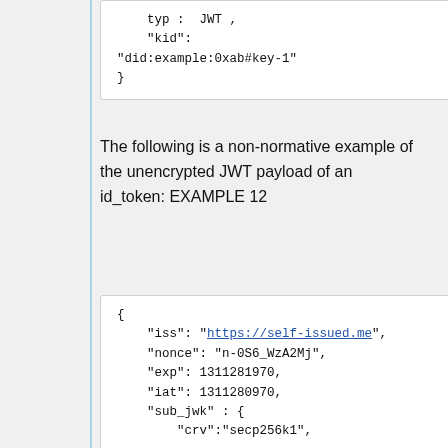typ :  JWT ,
    "kid":
"did:example:0xab#key-1"
}
The following is a non-normative example of the unencrypted JWT payload of an id_token: EXAMPLE 12
{
    "iss": "https://self-issued.me",
    "nonce": "n-0S6_WzA2Mj",
    "exp": 1311281970,
    "iat": 1311280970,
    "sub_jwk" : {
        "crv":"secp256k1",

"kid":"did:example:0xcd#verikey-1",
        "kty":"EC",

"x":"7KEKZa5xJPh7WVqHJyUpb2MgEe